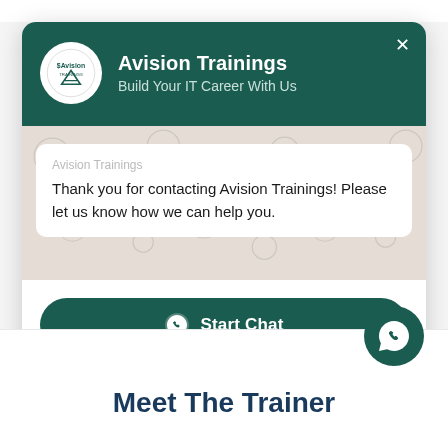[Figure (screenshot): WhatsApp chat popup widget for Avision Trainings showing brand header, chat message bubble, and Start Chat button]
Meet The Trainer